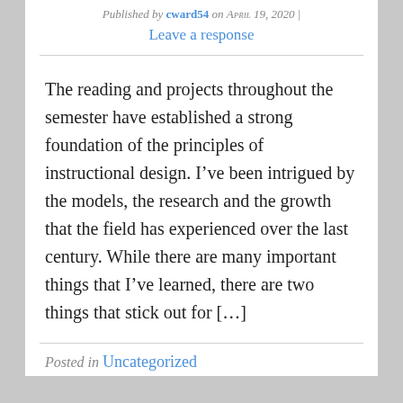Published by cward54 on April 19, 2020 | Leave a response
The reading and projects throughout the semester have established a strong foundation of the principles of instructional design. I’ve been intrigued by the models, the research and the growth that the field has experienced over the last century. While there are many important things that I’ve learned, there are two things that stick out for […]
Posted in Uncategorized